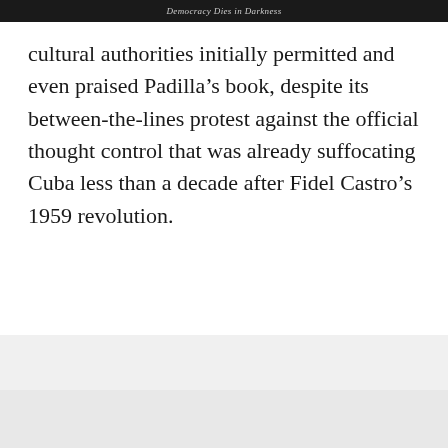Democracy Dies in Darkness
cultural authorities initially permitted and even praised Padilla’s book, despite its between-the-lines protest against the official thought control that was already suffocating Cuba less than a decade after Fidel Castro’s 1959 revolution.